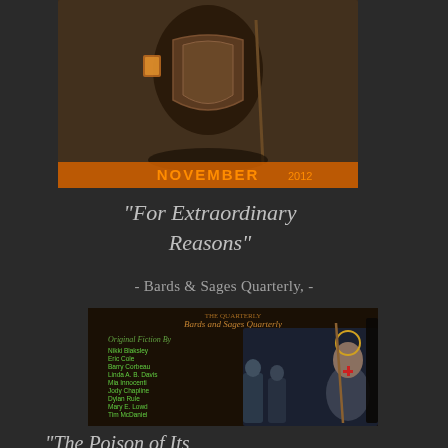[Figure (illustration): Magazine cover showing a dark fantasy creature/figure holding a lantern and staff, with text 'NOVEMBER 2012' in orange at the bottom]
"For Extraordinary Reasons"
- Bards & Sages Quarterly, -
[Figure (illustration): Cover of Bards and Sages Quarterly magazine featuring a knight in armor with a staff, against a fantasy background, with list of authors including Nikki Blaksley, Eric Cole, Barry Corbeau, Linda A. B. Davis, Mia Innocenti, Jody Chapline, Dylan Rule, Mary E. Lowd, Tim McDaniel, Vetta McKinnon, Bradley McConnaghan, Christine Rice, Michael D. Turner, George S. Walker]
"The Poison of Its